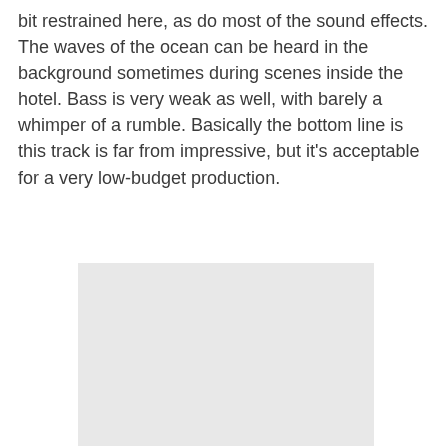bit restrained here, as do most of the sound effects. The waves of the ocean can be heard in the background sometimes during scenes inside the hotel. Bass is very weak as well, with barely a whimper of a rumble. Basically the bottom line is this track is far from impressive, but it's acceptable for a very low-budget production.
[Figure (photo): A light grey rectangular placeholder image]